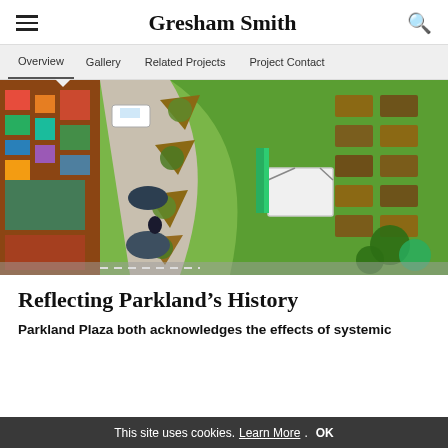Gresham Smith
Overview | Gallery | Related Projects | Project Contact
[Figure (photo): Aerial drone photograph looking down at Parkland Plaza, showing a curved concrete pathway, landscaped planted beds with triangular shapes, green lawn area, a white canopy structure, garden plots on the right, and a colorful mural-painted building on the left.]
Reflecting Parkland’s History
Parkland Plaza both acknowledges the effects of systemic
This site uses cookies. Learn More. OK